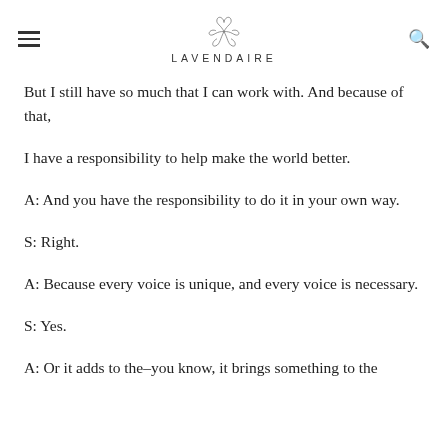LAVENDAIRE
But I still have so much that I can work with. And because of that,
I have a responsibility to help make the world better.
A: And you have the responsibility to do it in your own way.
S: Right.
A: Because every voice is unique, and every voice is necessary.
S: Yes.
A: Or it adds to the–you know, it brings something to the